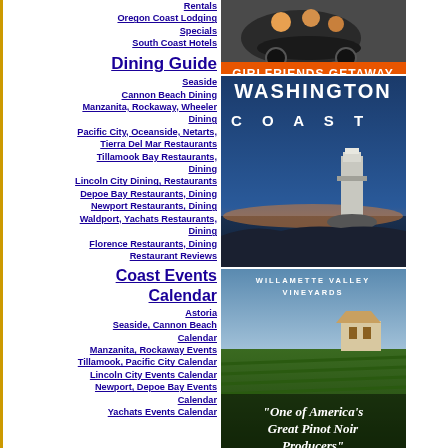Rentals
Oregon Coast Lodging Specials
South Coast Hotels
[Figure (photo): Girlfriends Getaway advertisement showing two people on a motorcycle with orange banner text 'GIRLFRIENDS GETAWAY']
Dining Guide
Seaside
Cannon Beach Dining
Manzanita, Rockaway, Wheeler Dining
Pacific City, Oceanside, Netarts, Tierra Del Mar Restaurants
Tillamook Bay Restaurants, Dining
Lincoln City Dining, Restaurants
Depoe Bay Restaurants, Dining
Newport Restaurants, Dining
Waldport, Yachats Restaurants, Dining
Florence Restaurants, Dining
Restaurant Reviews
[Figure (photo): Washington Coast advertisement showing a lighthouse at dusk with text 'WASHINGTON COAST' and 'travel updates - destinations']
Coast Events Calendar
Astoria
Seaside, Cannon Beach Calendar
Manzanita, Rockaway Events
Tillamook, Pacific City Calendar
Lincoln City Events Calendar
Newport, Depoe Bay Events Calendar
Yachats Events Calendar
[Figure (photo): Willamette Valley Vineyards advertisement with vineyard photo and text: 'One of America\'s Great Pinot Noir Producers' -Wine Enthusiast Magazine]